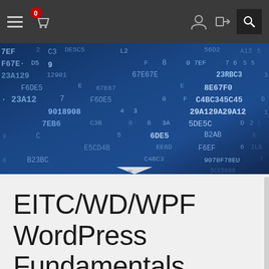Navigation bar with hamburger menu, cart (0 items), user icon, login icon, search icon
[Figure (photo): Close-up photo of a dark blue digital background covered with hexadecimal codes and alphanumeric strings such as 7EF, DE5C3, F67E, 23A12901, 9018908, 7EB6, E5CD4B, B23BC, 67E67E, C3B, EE6D, C4BC3, 23RBC3, 8E67F0, C4BC345C45, 29A129A29A12, 5DE5C, 6D5, B2AB, F6EF, 9078F78EU, 5CE5609. White and light-blue text on dark blue textured background.]
EITC/WD/WPF WordPress Fundamentals [v1r1]